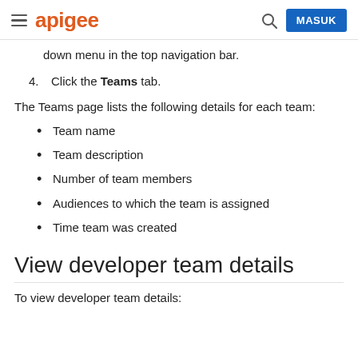apigee | MASUK
down menu in the top navigation bar.
4. Click the Teams tab.
The Teams page lists the following details for each team:
Team name
Team description
Number of team members
Audiences to which the team is assigned
Time team was created
View developer team details
To view developer team details: